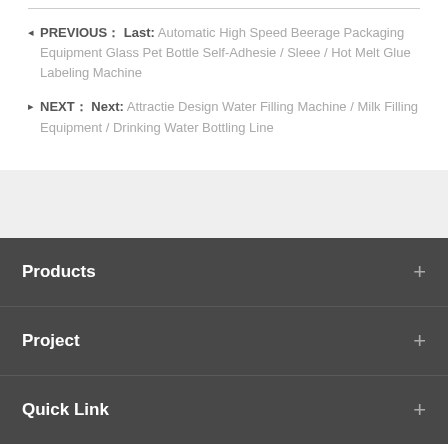◂ PREVIOUS： Last: Automatic High Speed Beerage Packaging Equipment Glass Pet Bottle Self-Adhesie / Sleee / Hot Melt Glue Labeling Machine
▸ NEXT： Next: Attractie Design Water Filling Machine / Milk Filling Equipment / Drinking Water Bottling Line
Products
Project
Quick Link